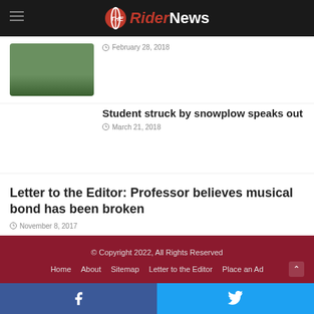The Rider News
February 28, 2018
Student struck by snowplow speaks out
March 21, 2018
Letter to the Editor: Professor believes musical bond has been broken
November 8, 2017
© Copyright 2022, All Rights Reserved
Home  About  Sitemap  Letter to the Editor  Place an Ad